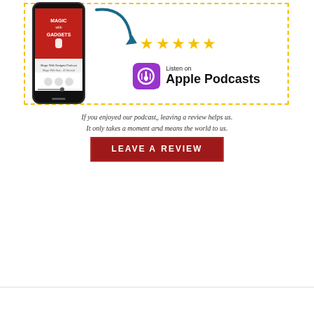[Figure (illustration): Promotional graphic for Magic With Gadgets podcast. Contains a dashed yellow border frame, a smartphone showing the podcast app screen with 'Magic With Gadgets' cover art, a curved arrow pointing to five gold stars, and the Apple Podcasts logo with 'Listen on Apple Podcasts' text.]
If you enjoyed our podcast, leaving a review helps us. It only takes a moment and means the world to us.
LEAVE A REVIEW